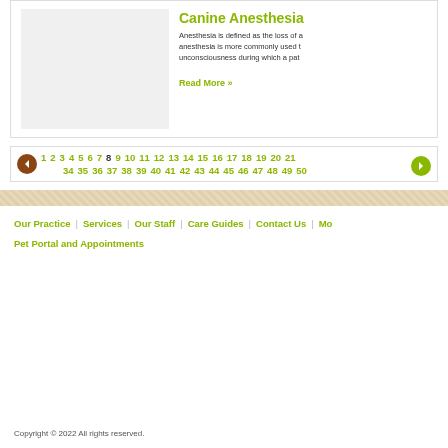Canine Anesthesia
Anesthesia is defined as the loss of a anesthesia is more commonly used t unconsciousness during which a pat
Read More »
1 2 3 4 5 6 7 8 9 10 11 12 13 14 15 16 17 18 19 20 21 34 35 36 37 38 39 40 41 42 43 44 45 46 47 48 49 50
Our Practice | Services | Our Staff | Care Guides | Contact Us | More Pet Portal and Appointments
Copyright © 2022 All rights reserved.